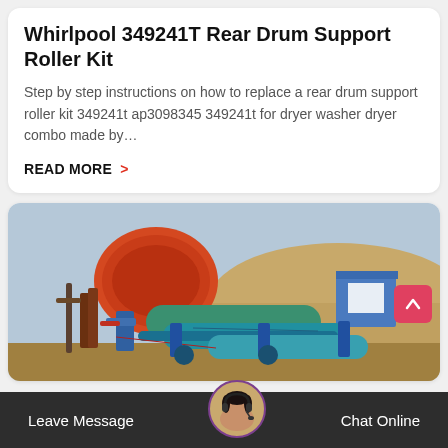Whirlpool 349241T Rear Drum Support Roller Kit
Step by step instructions on how to replace a rear drum support roller kit 349241t ap3098345 349241t for dryer washer dryer combo made by…
READ MORE >
[Figure (photo): Industrial machinery at an outdoor facility showing a large orange drum/ball mill, teal-colored cylindrical drums, blue metal framework and pipes, a small blue and white building, and a sandy mound in the background under a hazy sky.]
Leave Message   Chat Online